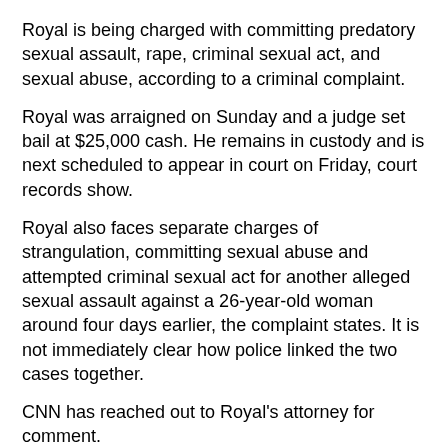Royal is being charged with committing predatory sexual assault, rape, criminal sexual act, and sexual abuse, according to a criminal complaint.
Royal was arraigned on Sunday and a judge set bail at $25,000 cash. He remains in custody and is next scheduled to appear in court on Friday, court records show.
Royal also faces separate charges of strangulation, committing sexual abuse and attempted criminal sexual act for another alleged sexual assault against a 26-year-old woman around four days earlier, the complaint states. It is not immediately clear how police linked the two cases together.
CNN has reached out to Royal's attorney for comment.
Restaurant owner is grateful the woman is safe, is thankful to Grubhub
Bermejo said police officials called Sunday afternoon to inform them that the woman's request for police was real, someone had been arrested and the woman was safe.